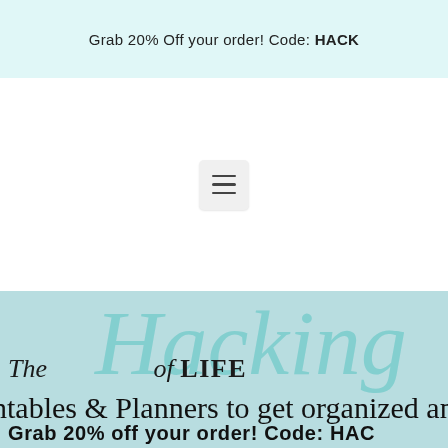Grab 20% Off your order! Code: HACK
[Figure (other): Hamburger/menu icon button in navigation area]
The Hacking of LIFE
ntables & Planners to get organized and hack your
Grab 20% off your order! Code: HACK